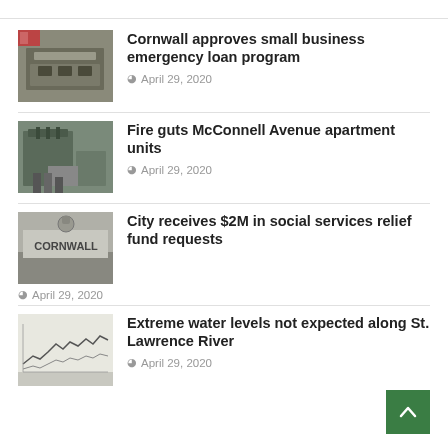[Figure (photo): Meeting room with people seated around a horseshoe-shaped table]
Cornwall approves small business emergency loan program
April 29, 2020
[Figure (photo): Fire scene at McConnell Avenue apartment with firefighters and equipment visible]
Fire guts McConnell Avenue apartment units
April 29, 2020
[Figure (photo): Cornwall city sign on a building]
City receives $2M in social services relief fund requests
April 29, 2020
[Figure (photo): Water level chart/graph showing St. Lawrence River levels]
Extreme water levels not expected along St. Lawrence River
April 29, 2020